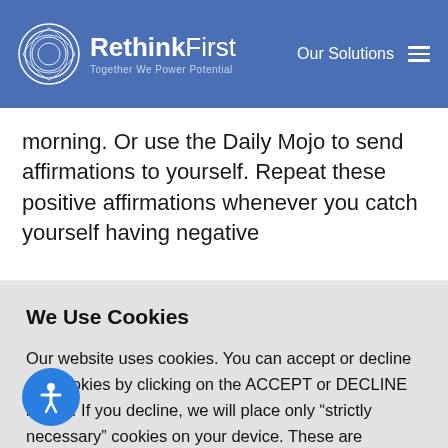RethinkFirst — Together We Power Potential | Our Solutions
morning. Or use the Daily Mojo to send affirmations to yourself. Repeat these positive affirmations whenever you catch yourself having negative
We Use Cookies
Our website uses cookies. You can accept or decline our cookies by clicking on the ACCEPT or DECLINE button. If you decline, we will place only “strictly necessary” cookies on your device. These are cookies that are essential for the website to function.
ACCEPT   DECLINE